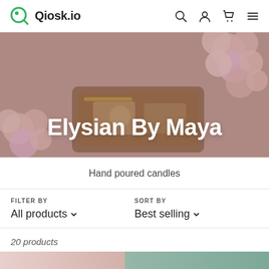Qiosk.io
[Figure (photo): Hero banner image showing pink balloons and a vintage radio/suitcase, overlaid with semi-transparent tint and the text 'Elysian By Maya' in large white bold font]
Elysian By Maya
Hand poured candles
FILTER BY
All products
SORT BY
Best selling
20 products